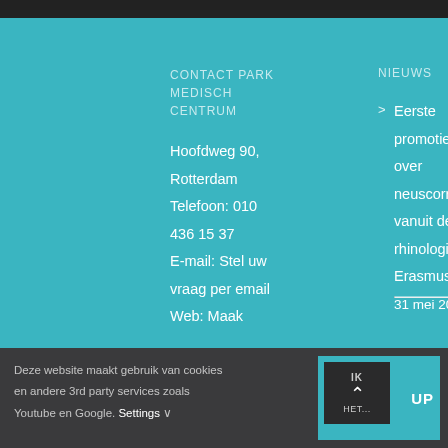CONTACT PARK MEDISCH CENTRUM
Hoofdweg 90, Rotterdam
Telefoon: 010 436 1537
E-mail: Stel uw vraag per email
Web: Maak
NIEUWS
Eerste promotie over neuscorrecties vanuit de rhinologieafdeling Erasmus MC
31 mei 2022
Deze website maakt gebruik van cookies en andere 3rd party services zoals Youtube en Google. Settings ∨
IK
SEJRUP
HET...